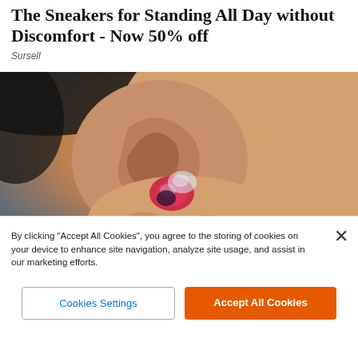The Sneakers for Standing All Day without Discomfort - Now 50% off
Sursell
[Figure (photo): Close-up photo of a person inserting a small pink/red in-ear hearing aid or earbud into their ear, held by fingers with pink nail polish.]
By clicking "Accept All Cookies", you agree to the storing of cookies on your device to enhance site navigation, analyze site usage, and assist in our marketing efforts.
Cookies Settings
Accept All Cookies